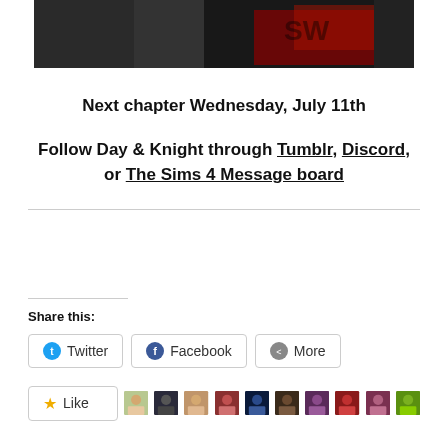[Figure (photo): Photo strip at top showing two people, partially cropped, dark background with red graffiti/mural element]
Next chapter Wednesday, July 11th
Follow Day & Knight through Tumblr, Discord, or The Sims 4 Message board
Share this:
Twitter  Facebook  More
[Figure (other): Like button with star icon followed by a row of user avatar thumbnails]